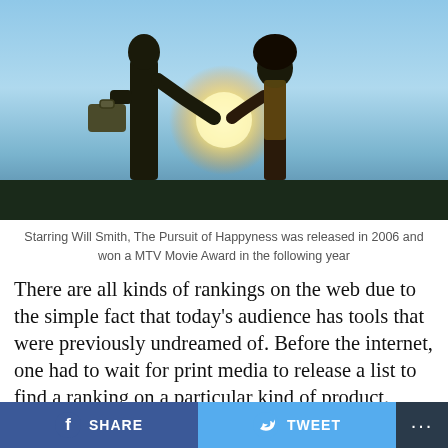[Figure (photo): Movie scene photo from The Pursuit of Happyness showing silhouettes of two figures against a bright sky, one carrying a briefcase and a light source glowing between them]
Starring Will Smith, The Pursuit of Happyness was released in 2006 and won a MTV Movie Award in the following year
There are all kinds of rankings on the web due to the simple fact that today's audience has tools that were previously undreamed of. Before the internet, one had to wait for print media to release a list to find a ranking on a particular kind of product. Today, however, thanks to online magazines and websites, one can find product rankings in an instant. This particular list will focus on the 10 movies you absolutely must see if you are an entrepreneur. In every list there is a subjective aspect, which depends on the taste of the film critic, and an
SHARE   TWEET   ...